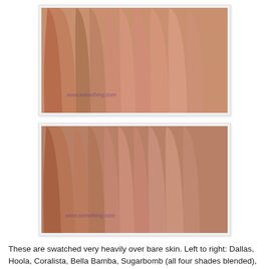[Figure (photo): Close-up swatch photo of blush/bronzer shades heavily swatched over bare skin, showing from left to right: Dallas, Hoola, Coralista, Bella Bamba, Sugarbomb, Dandelion, Georgia. Photo has a watermark reading www.somethingtoss.com. Top swatch photo.]
[Figure (photo): Second close-up swatch photo of the same blush/bronzer shades heavily swatched over bare skin, showing same shades. Photo has a watermark. Bottom swatch photo.]
These are swatched very heavily over bare skin. Left to right: Dallas, Hoola, Coralista, Bella Bamba, Sugarbomb (all four shades blended), Dandelion, Georgia.
DALLAS is a rosy bronze shimmer. It's described as a blush and bronze in one, and I'd agree with that description.